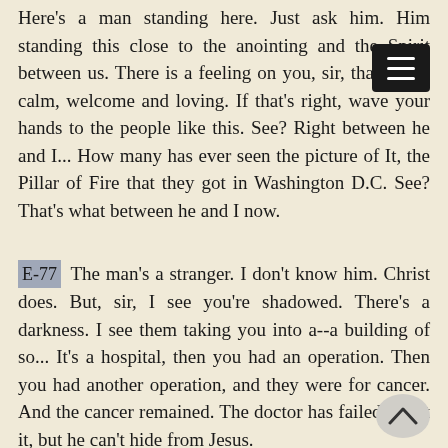Here's a man standing here. Just ask him. Him standing this close to the anointing and the Spirit between us. There is a feeling on you, sir, that's very calm, welcome and loving. If that's right, wave your hands to the people like this. See? Right between he and I... How many has ever seen the picture of It, the Pillar of Fire that they got in Washington D.C. See? That's what between he and I now.
E-77 The man's a stranger. I don't know him. Christ does. But, sir, I see you're shadowed. There's a darkness. I see them taking you into a--a building of so... It's a hospital, then you had an operation. Then you had another operation, and they were for cancer. And the cancer remained. The doctor has failed to get it, but he can't hide from Jesus. You're not from this city. You're from a smaller city than this. That's from... I... Looks like I seen the... It's Rockford, Illinois, is where you're from, and your name is Leonard.